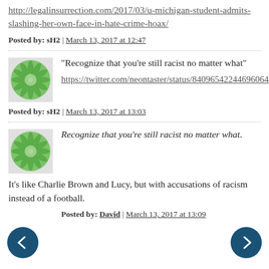http://legalinsurrection.com/2017/03/u-michigan-student-admits-slashing-her-own-face-in-hate-crime-hoax/
Posted by: sH2 | March 13, 2017 at 12:47
[Figure (illustration): Green starburst/mandala avatar icon]
"Recognize that you're still racist no matter what"
https://twitter.com/neontaster/status/840965422446960640
Posted by: sH2 | March 13, 2017 at 13:03
[Figure (illustration): Green starburst/mandala avatar icon]
Recognize that you're still racist no matter what.
It's like Charlie Brown and Lucy, but with accusations of racism instead of a football.
Posted by: David | March 13, 2017 at 13:09